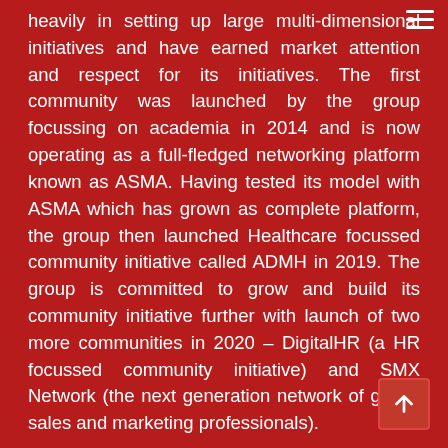heavily in setting up large multi-dimensional initiatives and have earned market attention and respect for its initiatives. The first community was launched by the group focussing on academia in 2014 and is now operating as a full-fledged networking platform known as ASMA. Having tested its model with ASMA which has grown as complete platform, the group then launched Healthcare focussed community initiative called ADMH in 2019. The group is committed to grow and build its community initiative further with launch of two more communities in 2020 – DigitalHR (a HR focussed community initiative) and SMX Network (the next generation network of global sales and marketing professionals).